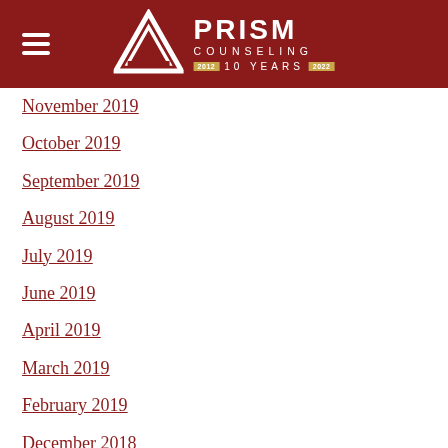[Figure (logo): Prism Counseling logo with triangle icon, 10 Years 2012-2022 tagline, on dark red background with hamburger menu icon]
November 2019
October 2019
September 2019
August 2019
July 2019
June 2019
April 2019
March 2019
February 2019
December 2018
November 2018
October 2018
September 2018
July 2018